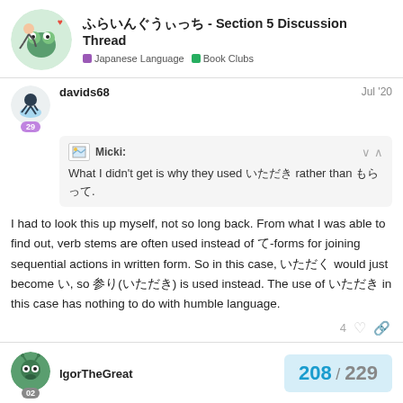ふらいんぐうぃっち - Section 5 Discussion Thread | Japanese Language | Book Clubs
davids68 · Jul '20
Micki: What I didn't get is why they used いただき rather than もらって.
I had to look this up myself, not so long back. From what I was able to find out, verb stems are often used instead of て-forms for joining sequential actions in written form. So in this case, いただく would just become い, so 参り(いただき) is used instead. The use of いただき in this case has nothing to do with humble language.
IgorTheGreat
208 / 229